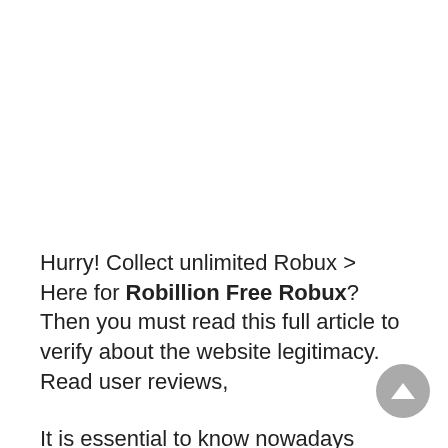Hurry! Collect unlimited Robux > Here for Robillion Free Robux? Then you must read this full article to verify about the website legitimacy. Read user reviews,
It is essential to know nowadays about any website because, in the name of Robux, several fake websites are available on the internet. The